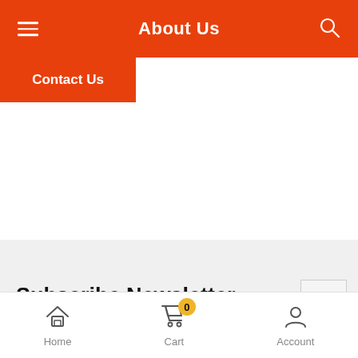About Us
Contact Us
Subscribe Newsletter
Don't miss out on thousands of super cool products a... promotions
Home   Cart 0   Account